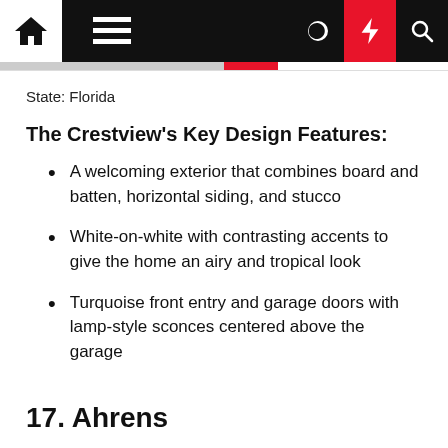Navigation bar with home, menu, moon, lightning, and search icons
State: Florida
The Crestview's Key Design Features:
A welcoming exterior that combines board and batten, horizontal siding, and stucco
White-on-white with contrasting accents to give the home an airy and tropical look
Turquoise front entry and garage doors with lamp-style sconces centered above the garage
17. Ahrens